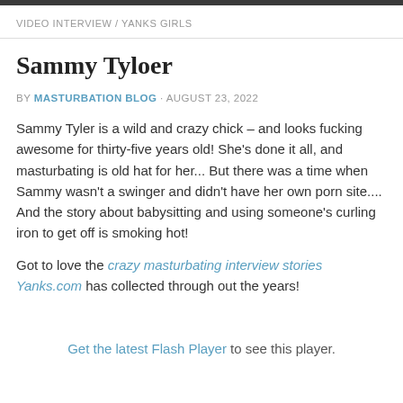VIDEO INTERVIEW / YANKS GIRLS
Sammy Tyloer
BY MASTURBATION BLOG · AUGUST 23, 2022
Sammy Tyler is a wild and crazy chick – and looks fucking awesome for thirty-five years old! She's done it all, and masturbating is old hat for her... But there was a time when Sammy wasn't a swinger and didn't have her own porn site.... And the story about babysitting and using someone's curling iron to get off is smoking hot!
Got to love the crazy masturbating interview stories Yanks.com has collected through out the years!
Get the latest Flash Player to see this player.